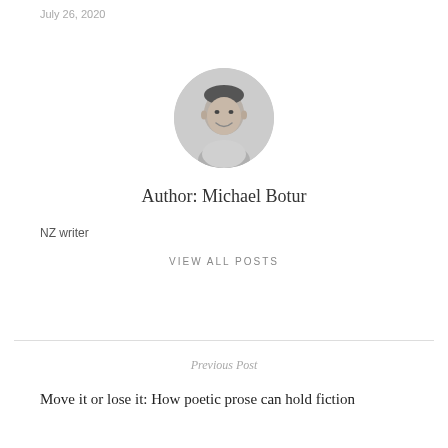July 26, 2020
[Figure (photo): Circular headshot photo of Michael Botur, a man smiling, in black and white]
Author: Michael Botur
NZ writer
VIEW ALL POSTS
Previous Post
Move it or lose it: How poetic prose can hold fiction